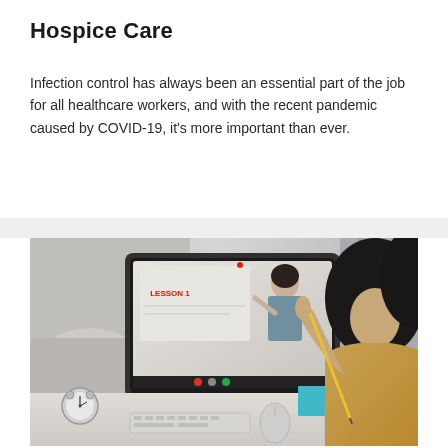Hospice Care
Infection control has always been an essential part of the job for all healthcare workers, and with the recent pandemic caused by COVID-19, it's more important than ever.
[Figure (photo): A person in a yellow sweater sitting at a desk with a computer monitor showing an online video lesson (LESSON 1 written on a whiteboard behind a female instructor). On the desk there is an alarm clock, keyboard, pencil holder with colored pencils, calculator, and notebooks. The person is raising their hand.]